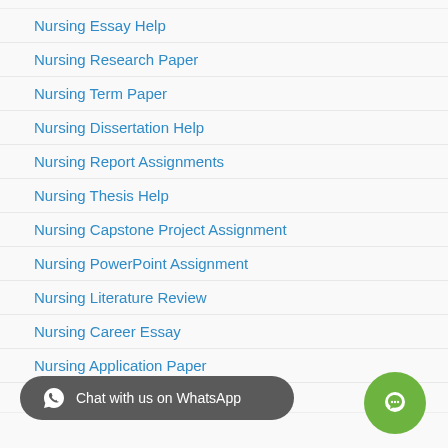Nursing Essay Help
Nursing Research Paper
Nursing Term Paper
Nursing Dissertation Help
Nursing Report Assignments
Nursing Thesis Help
Nursing Capstone Project Assignment
Nursing PowerPoint Assignment
Nursing Literature Review
Nursing Career Essay
Nursing Application Paper
Mental Health Paper